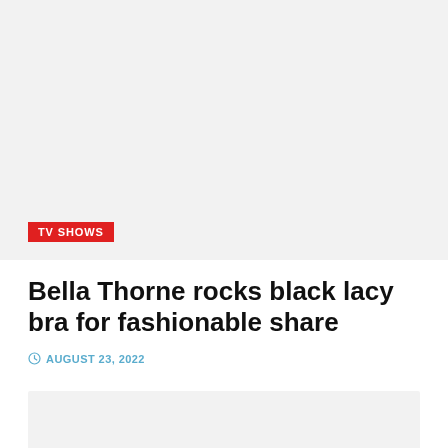[Figure (photo): Large image placeholder area with light gray background, containing a TV SHOWS category badge in red at the bottom left]
Bella Thorne rocks black lacy bra for fashionable share
AUGUST 23, 2022
[Figure (photo): Second image placeholder area with light gray background at the bottom of the page]